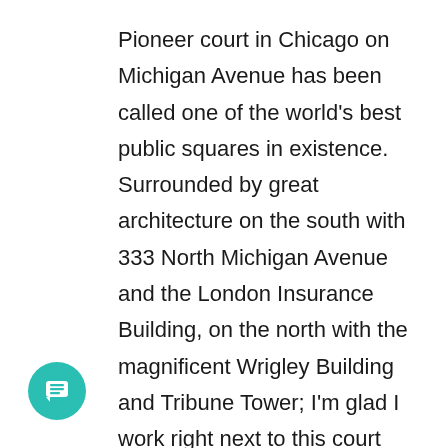Pioneer court in Chicago on Michigan Avenue has been called one of the world's best public squares in existence. Surrounded by great architecture on the south with 333 North Michigan Avenue and the London Insurance Building, on the north with the magnificent Wrigley Building and Tribune Tower; I'm glad I work right next to this court and walk by it every day. There's many great photo opportunities. Here's some of my shots:
[Figure (illustration): Teal/green circular chat bubble button icon in the bottom-left corner]